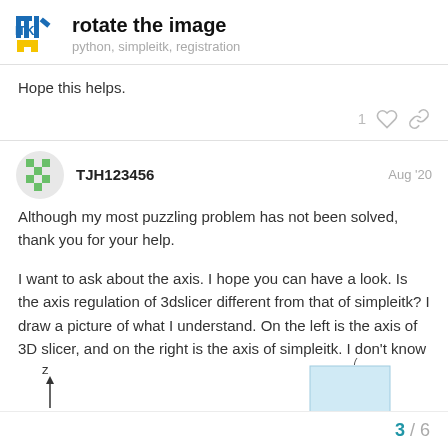rotate the image — python, simpleitk, registration
Hope this helps.
TJH123456 — Aug '20
Although my most puzzling problem has not been solved, thank you for your help.
I want to ask about the axis. I hope you can have a look. Is the axis regulation of 3dslicer different from that of simpleitk? I draw a picture of what I understand. On the left is the axis of 3D slicer, and on the right is the axis of simpleitk. I don't know if I drew it right?
[Figure (illustration): Partial diagram showing axis labels: 'z' on the left side with an upward arrow, and a blue rectangle on the right side with '7' label above it.]
3 / 6